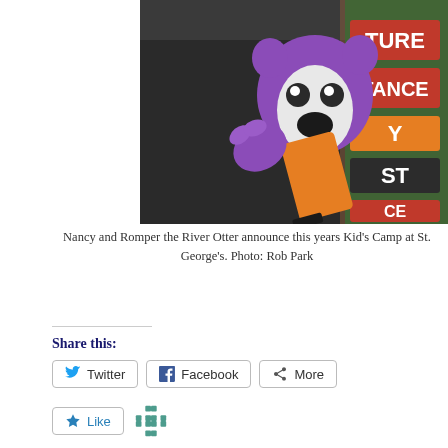[Figure (photo): Person in dark sweater holding a purple otter stuffed animal/puppet with orange crayon costume, in front of colorful word signs (TURE, TANCE, Y, ST, CE)]
Nancy and Romper the River Otter announce this years Kid's Camp at St. George's. Photo: Rob Park
Share this:
Twitter  Facebook  More
Like
One blogger likes this.